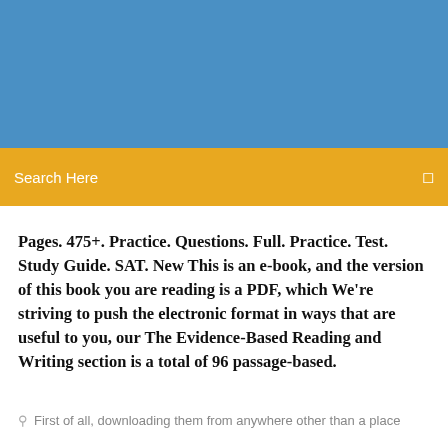[Figure (other): Blue banner header image at top of page]
Search Here
Pages. 475+. Practice. Questions. Full. Practice. Test. Study Guide. SAT. New This is an e-book, and the version of this book you are reading is a PDF, which We're striving to push the electronic format in ways that are useful to you, our The Evidence-Based Reading and Writing section is a total of 96 passage-based.
First of all, downloading them from anywhere other than a place